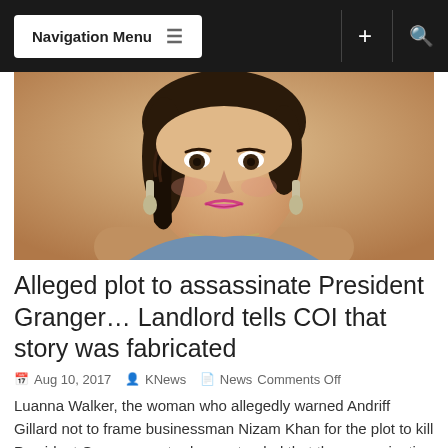Navigation Menu
[Figure (photo): Portrait photo of a woman with dark braided hair, large earrings, and pink lipstick, smiling at the camera.]
Alleged plot to assassinate President Granger… Landlord tells COI that story was fabricated
Aug 10, 2017  KNews  News  Comments Off
Luanna Walker, the woman who allegedly warned Andriff Gillard not to frame businessman Nizam Khan for the plot to kill President Granger, yesterday contended that the assassination story was a...
Read More